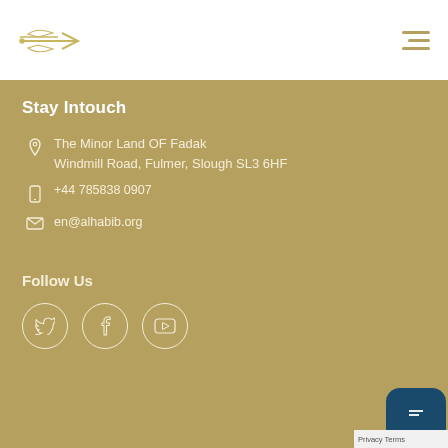[Figure (logo): Website logo with arrow/bird motif in gold/tan lines on white background]
Stay Intouch
The Minor Land OF Fadak
Windmill Road, Fulmer, Slough SL3 6HF
+44 785838 0907
en@alhabib.org
Follow Us
[Figure (illustration): Social media icons: Twitter, Facebook, YouTube in circular outlines]
[Figure (illustration): Chat bubble icon, dark teal/navy, bottom right corner]
Privacy Terms